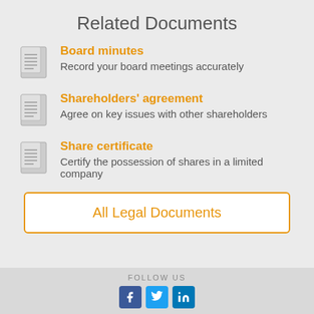Related Documents
Board minutes – Record your board meetings accurately
Shareholders' agreement – Agree on key issues with other shareholders
Share certificate – Certify the possession of shares in a limited company
All Legal Documents
FOLLOW US